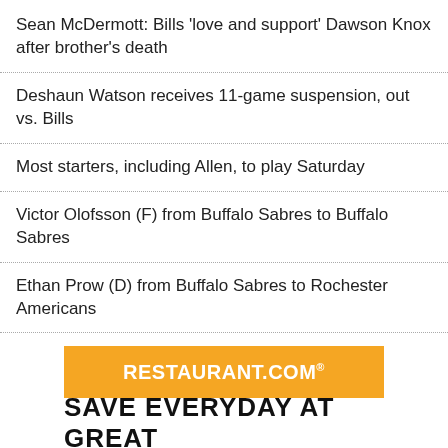Sean McDermott: Bills 'love and support' Dawson Knox after brother's death
Deshaun Watson receives 11-game suspension, out vs. Bills
Most starters, including Allen, to play Saturday
Victor Olofsson (F) from Buffalo Sabres to Buffalo Sabres
Ethan Prow (D) from Buffalo Sabres to Rochester Americans
[Figure (illustration): Restaurant.com advertisement banner with orange background showing 'RESTAURANT.COM®' text and 'SAVE EVERYDAY AT GREAT' tagline below]